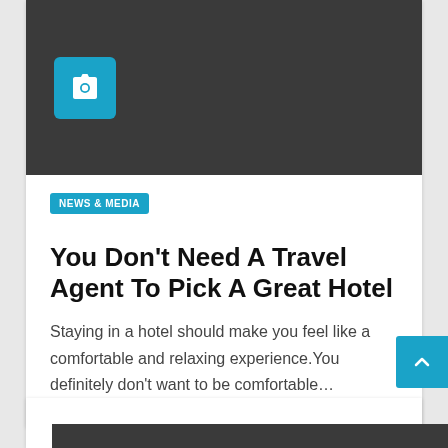[Figure (photo): Dark grey placeholder image area with a light blue camera icon box in the upper left]
NEWS & MEDIA
You Don't Need A Travel Agent To Pick A Great Hotel
Staying in a hotel should make you feel like a comfortable and relaxing experience.You definitely don't want to be comfortable…